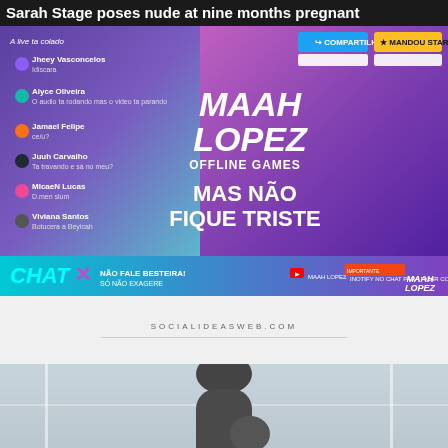Sarah Stage poses nude at nine months pregnant
[Figure (screenshot): Brazilian live stream screenshot showing Maah Lopez offline games branding with chat panel on left showing multiple user comments, social share buttons top right, and bottom bar with chat instructions]
SOCIALIDEASWEB.COM
[Figure (photo): Partial photo of a pregnant woman in dark clothing near windows, cropped]